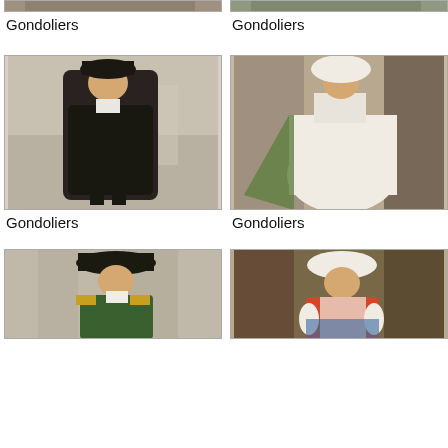[Figure (illustration): Cropped illustration from The Gondoliers, figures in costume, top of page]
Gondoliers
[Figure (illustration): Cropped illustration from The Gondoliers, figures in costume, top right]
Gondoliers
[Figure (illustration): Illustration from The Gondoliers, man in black cape and hat, middle left]
Gondoliers
[Figure (illustration): Illustration from The Gondoliers, woman in white dress with red sash, middle right]
Gondoliers
[Figure (illustration): Illustration from The Gondoliers, man in ornate uniform, bottom left, partially visible]
[Figure (illustration): Illustration from The Gondoliers, woman in white headdress, bottom right, partially visible]